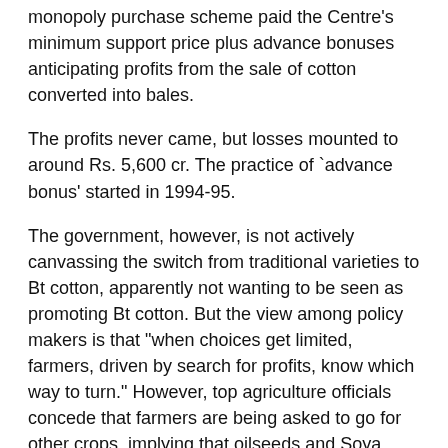monopoly purchase scheme paid the Centre's minimum support price plus advance bonuses anticipating profits from the sale of cotton converted into bales.
The profits never came, but losses mounted to around Rs. 5,600 cr. The practice of `advance bonus' started in 1994-95.
The government, however, is not actively canvassing the switch from traditional varieties to Bt cotton, apparently not wanting to be seen as promoting Bt cotton. But the view among policy makers is that "when choices get limited, farmers, driven by search for profits, know which way to turn." However, top agriculture officials concede that farmers are being asked to go for other crops, implying that oilseeds and Soya could be a good choice.
Bt cotton got its toehold around the time the monopoly scheme was diluted by allowing the entry of private